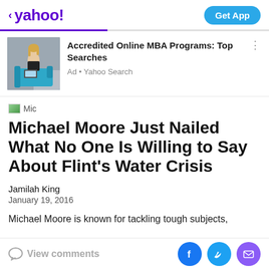< yahoo!   Get App
[Figure (screenshot): Yahoo mobile app header with purple Yahoo logo and Get App button]
[Figure (photo): Ad banner image showing a woman sitting on a blue couch with a laptop]
Accredited Online MBA Programs: Top Searches
Ad • Yahoo Search
[Figure (logo): Mic publication logo]
Michael Moore Just Nailed What No One Is Willing to Say About Flint's Water Crisis
Jamilah King
January 19, 2016
Michael Moore is known for tackling tough subjects,
View comments